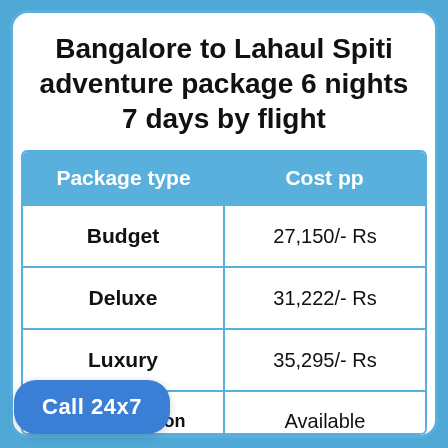Bangalore to Lahaul Spiti adventure package 6 nights 7 days by flight
| Package type | Cost pp |
| --- | --- |
| Budget | 27,150/- Rs |
| Deluxe | 31,222/- Rs |
| Luxury | 35,295/- Rs |
| Customisation | Available |
Call 24x7